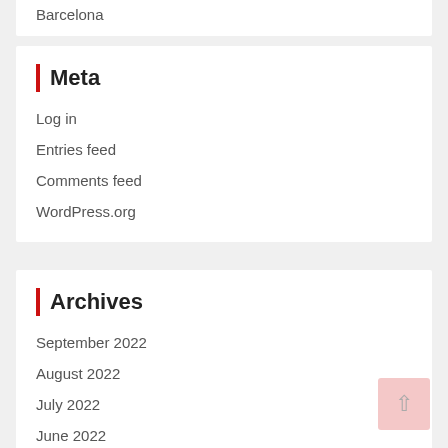Barcelona
Meta
Log in
Entries feed
Comments feed
WordPress.org
Archives
September 2022
August 2022
July 2022
June 2022
May 2022
April 2022